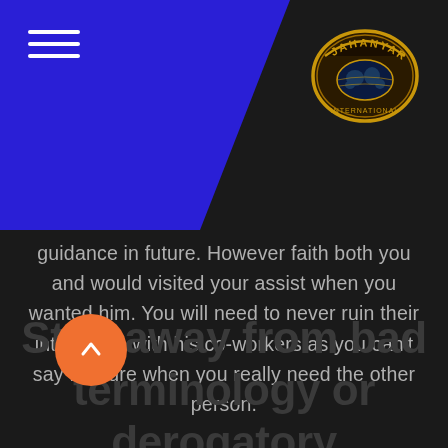[Figure (logo): Jahanyar logo badge with gold text and world map on dark background]
guidance in future. However faith both you and would visited your assist when you wanted him. You will need to never ruin their interaction with his co-workers as you can't say for sure when you really need the other person.
Stay away from bad terminology or derogatory sentences against people.